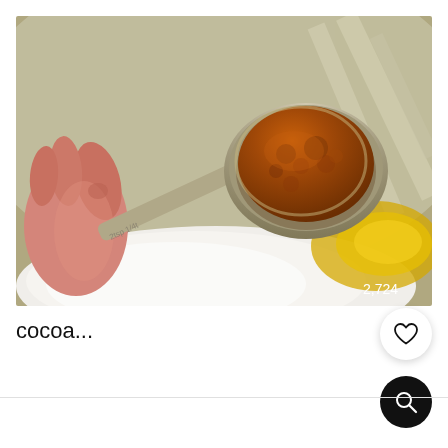[Figure (photo): A close-up photo of a measuring spoon ('2 tsp') held by a hand, heaped with brown cocoa powder, over a mixing bowl containing white powder and yellow liquid (egg yolk or oil), with a blurred metallic bowl in the background. A number '2,724' appears in the lower right corner of the image.]
cocoa...